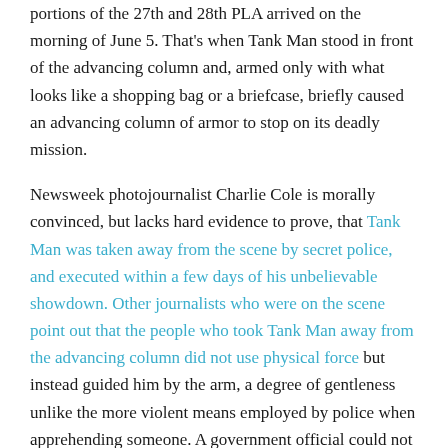portions of the 27th and 28th PLA arrived on the morning of June 5. That's when Tank Man stood in front of the advancing column and, armed only with what looks like a shopping bag or a briefcase, briefly caused an advancing column of armor to stop on its deadly mission.
Newsweek photojournalist Charlie Cole is morally convinced, but lacks hard evidence to prove, that Tank Man was taken away from the scene by secret police, and executed within a few days of his unbelievable showdown. Other journalists who were on the scene point out that the people who took Tank Man away from the advancing column did not use physical force but instead guided him by the arm, a degree of gentleness unlike the more violent means employed by police when apprehending someone. A government official could not identify him when challenged by Time Magazine to do so, offering only the comment "I think never killed." Cole's leads have suggested Tank Man's name was Wang Wei Lin, but he cannot confirm that. Another author researching the incident came up with the name Wang Ai-Min, but again, this relies on some dubious sources. Regardless of his name, if those were secret police who spirited the man away, it's hard to